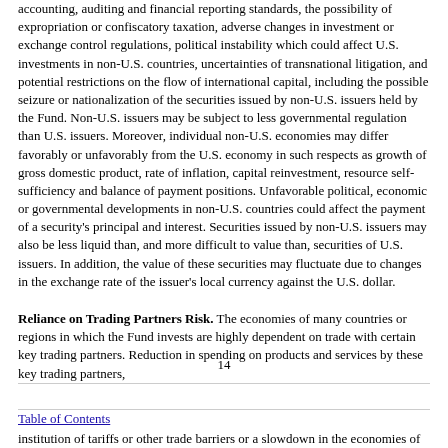accounting, auditing and financial reporting standards, the possibility of expropriation or confiscatory taxation, adverse changes in investment or exchange control regulations, political instability which could affect U.S. investments in non-U.S. countries, uncertainties of transnational litigation, and potential restrictions on the flow of international capital, including the possible seizure or nationalization of the securities issued by non-U.S. issuers held by the Fund. Non-U.S. issuers may be subject to less governmental regulation than U.S. issuers. Moreover, individual non-U.S. economies may differ favorably or unfavorably from the U.S. economy in such respects as growth of gross domestic product, rate of inflation, capital reinvestment, resource self-sufficiency and balance of payment positions. Unfavorable political, economic or governmental developments in non-U.S. countries could affect the payment of a security's principal and interest. Securities issued by non-U.S. issuers may also be less liquid than, and more difficult to value than, securities of U.S. issuers. In addition, the value of these securities may fluctuate due to changes in the exchange rate of the issuer's local currency against the U.S. dollar.
Reliance on Trading Partners Risk. The economies of many countries or regions in which the Fund invests are highly dependent on trade with certain key trading partners. Reduction in spending on products and services by these key trading partners,
14
Table of Contents
institution of tariffs or other trade barriers or a slowdown in the economies of key trading partners may adversely affect the performance of any company in which the Fund invests and have a material adverse effect on the Fund's performance